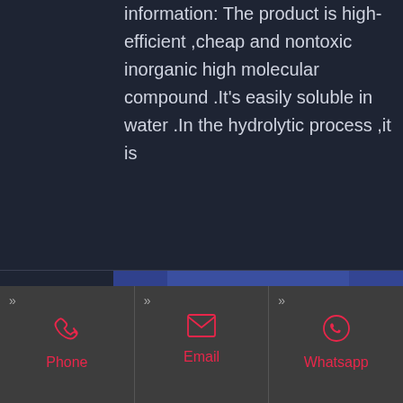information: The product is high-efficient ,cheap and nontoxic inorganic high molecular compound .It's easily soluble in water .In the hydrolytic process ,it is
GET PRICE
[Figure (photo): A bowl or container filled with white granular or pellet-like material (likely the inorganic compound described above), shown against a blue background.]
Phone
Email
Whatsapp